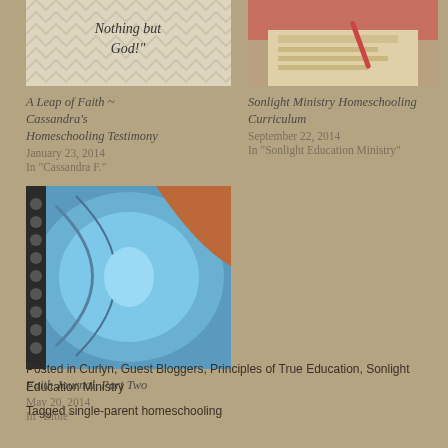[Figure (photo): Thumbnail image with zigzag/chevron pattern background and italic text 'Nothing but God!']
A Leap of Faith ~ Cassandra's Homeschooling Testimony
January 23, 2014
In "Cassandra F."
[Figure (photo): Thumbnail photo of a child's hand writing on paper with a colored pencil]
Sonlight Ministry Homeschooling Curriculum
September 22, 2014
In "Sonlight Education Ministry"
[Figure (photo): Close-up photograph of a blue morpho butterfly wing]
Faith Journal, Part Two
May 20, 2014
In "Bible"
Posted in Curlyn, Guest Bloggers, Principles of True Education, Sonlight Education Ministry
Tagged single-parent homeschooling